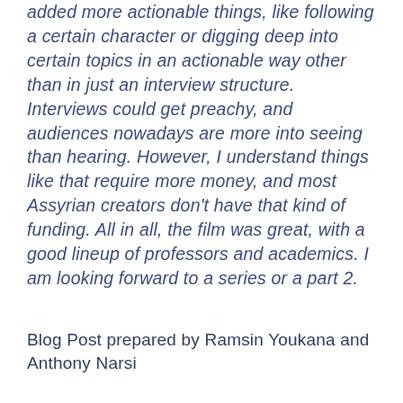added more actionable things, like following a certain character or digging deep into certain topics in an actionable way other than in just an interview structure. Interviews could get preachy, and audiences nowadays are more into seeing than hearing. However, I understand things like that require more money, and most Assyrian creators don't have that kind of funding. All in all, the film was great, with a good lineup of professors and academics. I am looking forward to a series or a part 2.
Blog Post prepared by Ramsin Youkana and Anthony Narsi